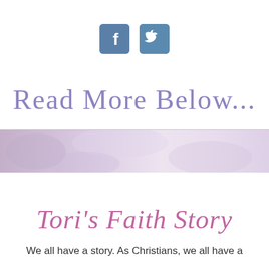[Figure (other): Facebook and Twitter social media icons (blue rounded square icons)]
Read More Below...
[Figure (photo): A horizontal banner with a soft purple/lavender floral or fabric texture background]
Tori's Faith Story
We all have a story. As Christians, we all have a